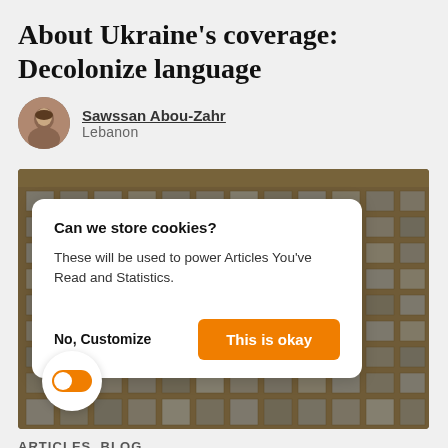About Ukraine's coverage: Decolonize language
Sawssan Abou-Zahr
Lebanon
[Figure (photo): Photograph of an apartment building facade with many windows, overlaid with a cookie consent dialog. The dialog reads: 'Can we store cookies? These will be used to power Articles You've Read and Statistics.' with a 'No, Customize' text link and an orange 'This is okay' button. An orange toggle switch is visible in the bottom-left of the image.]
ARTICLES  BLOG